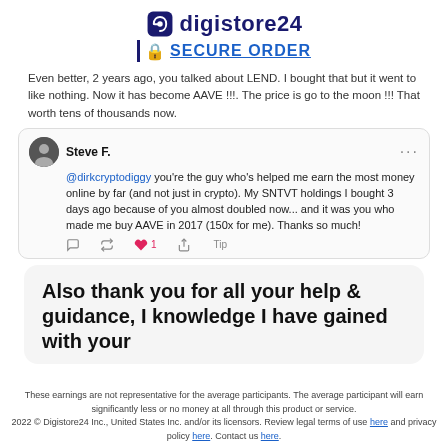[Figure (logo): Digistore24 logo with lock icon and SECURE ORDER text]
Even better, 2 years ago, you talked about LEND. I bought that but it went to like nothing. Now it has become AAVE !!!. The price is go to the moon !!! That worth tens of thousands now.
[Figure (screenshot): Tweet from Steve F. saying: @dirkcryptodiggy you're the guy who's helped me earn the most money online by far (and not just in crypto). My SNTVT holdings I bought 3 days ago because of you almost doubled now... and it was you who made me buy AAVE in 2017 (150x for me). Thanks so much!]
Also thank you for all your help & guidance, I knowledge I have gained with your
These earnings are not representative for the average participants. The average participant will earn significantly less or no money at all through this product or service.
2022 © Digistore24 Inc., United States Inc. and/or its licensors. Review legal terms of use here and privacy policy here. Contact us here.